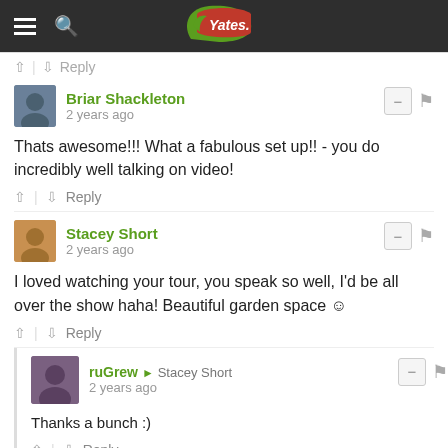Yates website header with navigation
↑ | ↓  Reply
Briar Shackleton
2 years ago
Thats awesome!!! What a fabulous set up!! - you do incredibly well talking on video!
Stacey Short
2 years ago
I loved watching your tour, you speak so well, I'd be all over the show haha! Beautiful garden space ☺
ruGrew → Stacey Short
2 years ago
Thanks a bunch :)
Sarah Blong